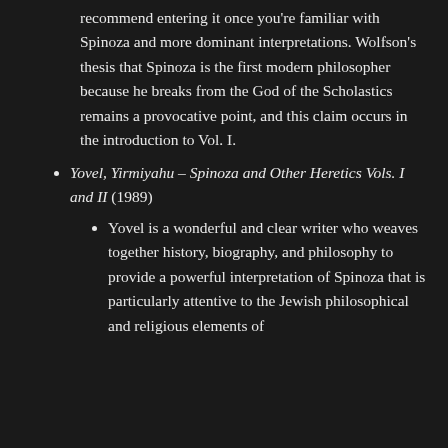recommend entering it once you're familiar with Spinoza and more dominant interpretations. Wolfson's thesis that Spinoza is the first modern philosopher because he breaks from the God of the Scholastics remains a provocative point, and this claim occurs in the introduction to Vol. I.
Yovel, Yirmiyahu – Spinoza and Other Heretics Vols. I and II (1989)
Yovel is a wonderful and clear writer who weaves together history, biography, and philosophy to provide a powerful interpretation of Spinoza that is particularly attentive to the Jewish philosophical and religious elements of